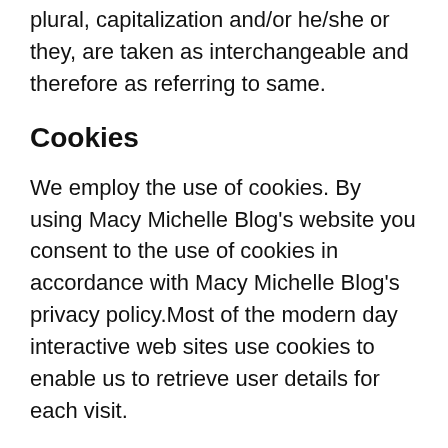plural, capitalization and/or he/she or they, are taken as interchangeable and therefore as referring to same.
Cookies
We employ the use of cookies. By using Macy Michelle Blog's website you consent to the use of cookies in accordance with Macy Michelle Blog's privacy policy.Most of the modern day interactive web sites use cookies to enable us to retrieve user details for each visit.
Cookies are used in some areas of our site to enable the functionality of this area and ease of use for those people visiting. Some of our